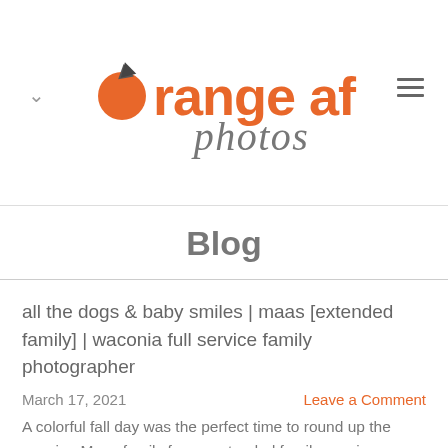[Figure (logo): Orange AF Photos logo with orange circle, leaf/arrow graphic, orange and gray text 'orange af' and cursive 'photos']
Blog
all the dogs & baby smiles | maas [extended family] | waconia full service family photographer
March 17, 2021
Leave a Comment
A colorful fall day was the perfect time to round up the growing Maas family for an extended family session, including the two new grand girls and ALL the fur ba… family! I met up with them at their property outside o…